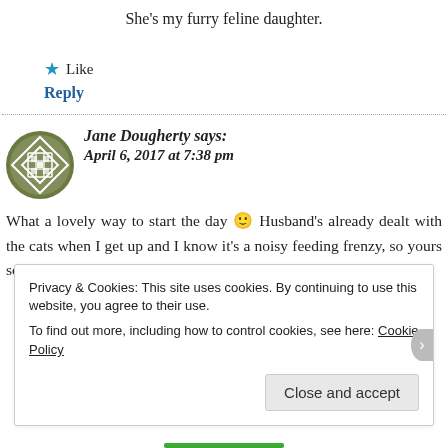She's my furry feline daughter.
★ Like
Reply
Jane Dougherty says:
April 6, 2017 at 7:38 pm
What a lovely way to start the day 🙂 Husband's already dealt with the cats when I get up and I know it's a noisy feeding frenzy, so yours sound idyllic.
Privacy & Cookies: This site uses cookies. By continuing to use this website, you agree to their use.
To find out more, including how to control cookies, see here: Cookie Policy
Close and accept